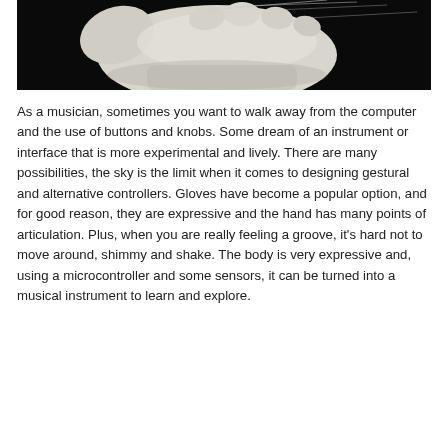[Figure (photo): Close-up photograph of a white glove worn on a hand against a dark/black background, with wires or sensors attached to the fingers, suggesting a sensor-equipped musical controller glove.]
As a musician, sometimes you want to walk away from the computer and the use of buttons and knobs. Some dream of an instrument or interface that is more experimental and lively. There are many possibilities, the sky is the limit when it comes to designing gestural and alternative controllers. Gloves have become a popular option, and for good reason, they are expressive and the hand has many points of articulation. Plus, when you are really feeling a groove, it's hard not to move around, shimmy and shake. The body is very expressive and, using a microcontroller and some sensors, it can be turned into a musical instrument to learn and explore.